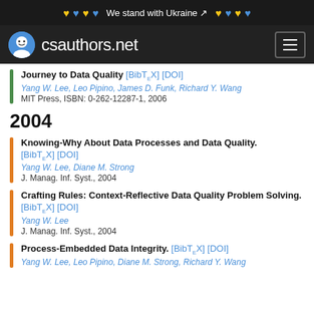We stand with Ukraine
csauthors.net
Journey to Data Quality [BibTeX] [DOI]
Yang W. Lee, Leo Pipino, James D. Funk, Richard Y. Wang
MIT Press, ISBN: 0-262-12287-1, 2006
2004
Knowing-Why About Data Processes and Data Quality. [BibTeX] [DOI]
Yang W. Lee, Diane M. Strong
J. Manag. Inf. Syst., 2004
Crafting Rules: Context-Reflective Data Quality Problem Solving. [BibTeX] [DOI]
Yang W. Lee
J. Manag. Inf. Syst., 2004
Process-Embedded Data Integrity. [BibTeX] [DOI]
Yang W. Lee, Leo Pipino, Diane M. Strong, Richard Y. Wang